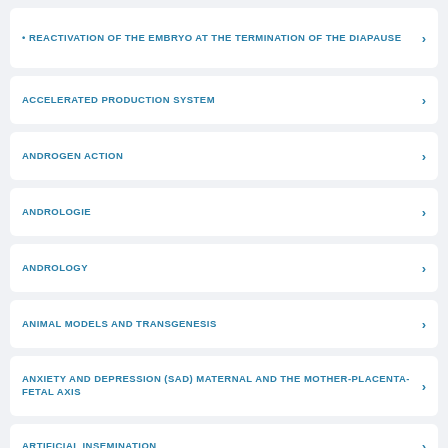REACTIVATION OF THE EMBRYO AT THE TERMINATION OF THE DIAPAUSE
ACCELERATED PRODUCTION SYSTEM
ANDROGEN ACTION
ANDROLOGIE
ANDROLOGY
ANIMAL MODELS AND TRANSGENESIS
ANXIETY AND DEPRESSION (SAD) MATERNAL AND THE MOTHER-PLACENTA-FETAL AXIS
ARTIFICIAL INSEMINATION